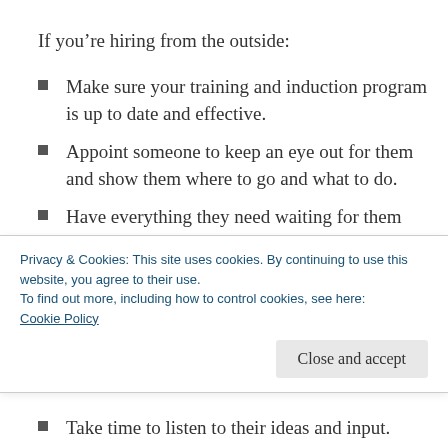If you're hiring from the outside:
Make sure your training and induction program is up to date and effective.
Appoint someone to keep an eye out for them and show them where to go and what to do.
Have everything they need waiting for them when they arrive, including HR and payroll information and logins for your computer system and email. Make sure they know where to go if they need help.
Privacy & Cookies: This site uses cookies. By continuing to use this website, you agree to their use.
To find out more, including how to control cookies, see here: Cookie Policy
Take time to listen to their ideas and input.